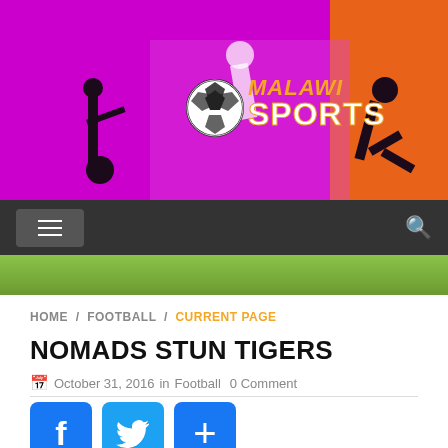[Figure (logo): Malawi Sports website header banner with magenta/purple background, silhouettes of athletes, soccer ball, and 'MALAWI SPORTS' text logo]
[Figure (screenshot): Dark navigation bar with hamburger menu button on left and search icon on right]
HOME / FOOTBALL / CURRENT PAGE
NOMADS STUN TIGERS
October 31, 2016  in  Football  0 Comment
[Figure (infographic): Social media share buttons: Facebook (f), Twitter (bird), and plus (+) icons in blue rounded squares]
Share
Tweet   Like 0   Share